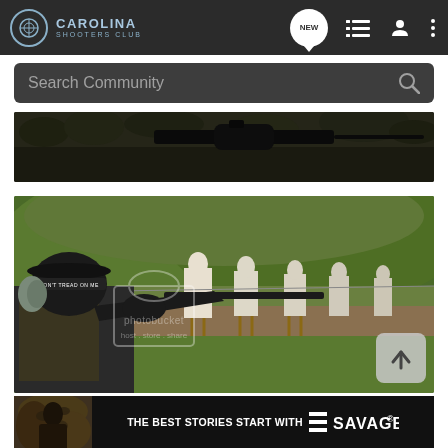Carolina Shooters Club
Search Community
[Figure (photo): Partial view of firearm with scope/rail, close-up, dark background with foliage]
[Figure (photo): Shooter at an outdoor range wearing ear protection and hat that reads 'DON'T TREAD ON ME', aiming a rifle toward multiple human silhouette targets with a green hillside in the background. Photobucket watermark visible.]
[Figure (photo): Advertisement banner: person in camouflage on left, text 'THE BEST STORIES START WITH SAVAGE' with Savage Arms logo on black background]